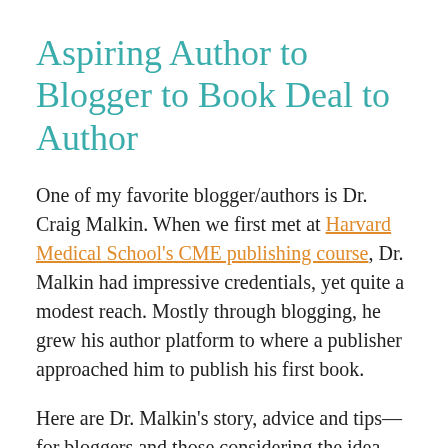Aspiring Author to Blogger to Book Deal to Author
One of my favorite blogger/authors is Dr. Craig Malkin. When we first met at Harvard Medical School's CME publishing course, Dr. Malkin had impressive credentials, yet quite a modest reach. Mostly through blogging, he grew his author platform to where a publisher approached him to publish his first book.
Here are Dr. Malkin's story, advice and tips—for bloggers and those considering the idea.
How to Pitch Your Blog